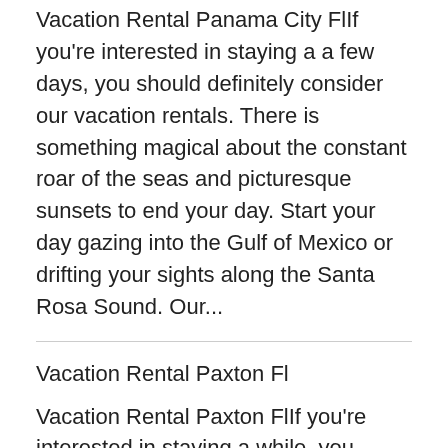Vacation Rental Panama City FlIf you're interested in staying a a few days, you should definitely consider our vacation rentals. There is something magical about the constant roar of the seas and picturesque sunsets to end your day. Start your day gazing into the Gulf of Mexico or drifting your sights along the Santa Rosa Sound. Our...
Vacation Rental Paxton Fl
Vacation Rental Paxton FlIf you're interested in staying a while, you should definitely consider our vacation rentals. There is something magical about the constant roar of the seas and picturesque sunsets to finish the day. Start your day gazing into the Gulf of Mexico or drifting your sights along the Santa Rosa Sound. Our...